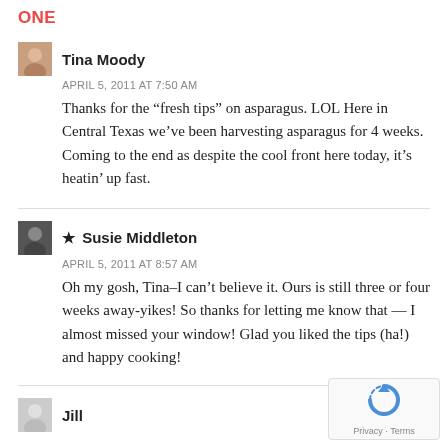ONE
Tina Moody
APRIL 5, 2011 AT 7:50 AM
Thanks for the “fresh tips” on asparagus. LOL Here in Central Texas we’ve been harvesting asparagus for 4 weeks. Coming to the end as despite the cool front here today, it’s heatin’ up fast.
★ Susie Middleton
APRIL 5, 2011 AT 8:57 AM
Oh my gosh, Tina–I can’t believe it. Ours is still three or four weeks away-yikes! So thanks for letting me know that — I almost missed your window! Glad you liked the tips (ha!) and happy cooking!
Jill